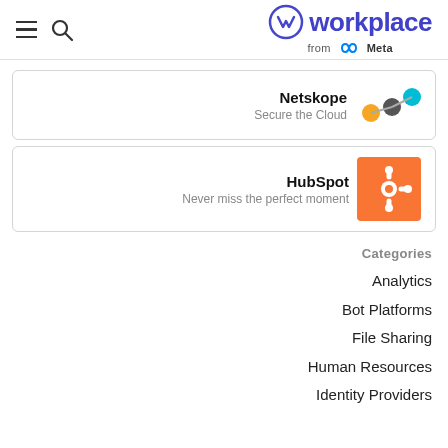workplace from Meta
[Figure (logo): Netskope logo - connected dots in orange, dark and teal]
Netskope
Secure the Cloud
[Figure (logo): HubSpot logo - orange square with sprocket icon]
HubSpot
Never miss the perfect moment
Categories
Analytics
Bot Platforms
File Sharing
Human Resources
Identity Providers